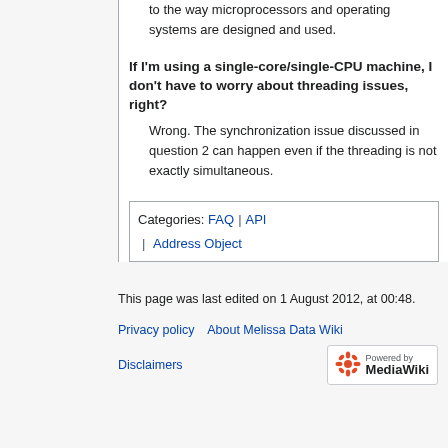to the way microprocessors and operating systems are designed and used.
If I'm using a single-core/single-CPU machine, I don't have to worry about threading issues, right?
Wrong. The synchronization issue discussed in question 2 can happen even if the threading is not exactly simultaneous.
Categories: FAQ | API | Address Object
This page was last edited on 1 August 2012, at 00:48.
Privacy policy   About Melissa Data Wiki
Disclaimers